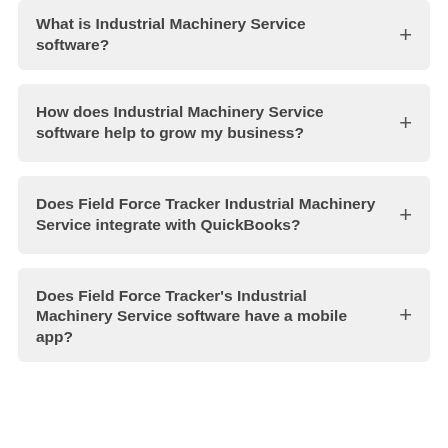What is Industrial Machinery Service software?
How does Industrial Machinery Service software help to grow my business?
Does Field Force Tracker Industrial Machinery Service integrate with QuickBooks?
Does Field Force Tracker's Industrial Machinery Service software have a mobile app?